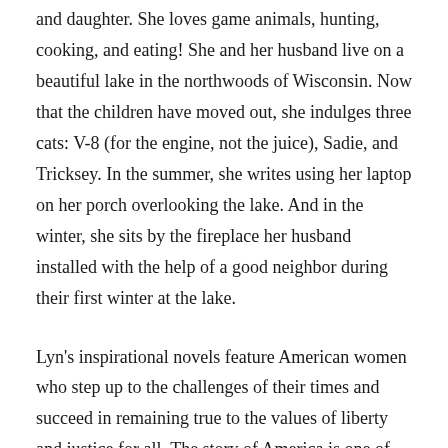and daughter. She loves game animals, hunting, cooking, and eating! She and her husband live on a beautiful lake in the northwoods of Wisconsin. Now that the children have moved out, she indulges three cats: V-8 (for the engine, not the juice), Sadie, and Tricksey. In the summer, she writes using her laptop on her porch overlooking the lake. And in the winter, she sits by the fireplace her husband installed with the help of a good neighbor during their first winter at the lake.
Lyn's inspirational novels feature American women who step up to the challenges of their times and succeed in remaining true to the values of liberty and justice for all. The story of America is one of many nationalities and races coming together to forge our one nation under God, and Lyn's novels reflect this with accurate historical detail, always providing the ring of authenticity. Strong Women, Brave Stories.